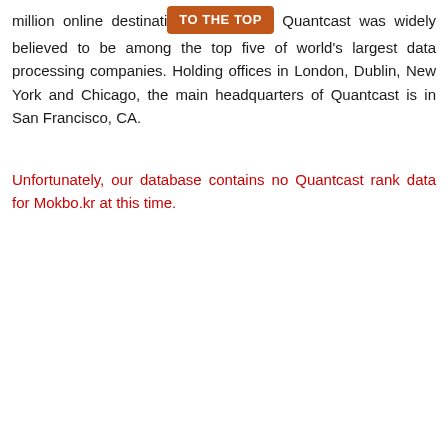million online destinations. [TO THE TOP] Quantcast was widely believed to be among the top five of world's largest data processing companies. Holding offices in London, Dublin, New York and Chicago, the main headquarters of Quantcast is in San Francisco, CA.
Unfortunately, our database contains no Quantcast rank data for Mokbo.kr at this time.